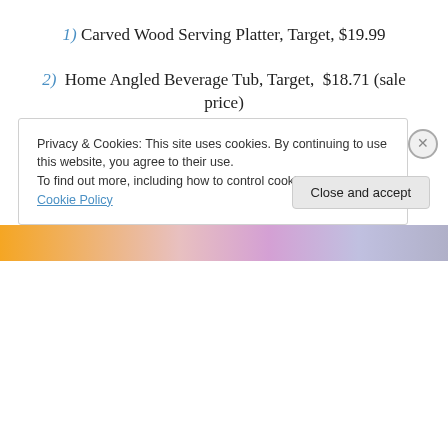1) Carved Wood Serving Platter, Target, $19.99
2) Home Angled Beverage Tub, Target, $18.71 (sale price)
3) Square Lacquer Trays, West Elm, $24.00 final sale
4) Fiammetta Pot Holder & Oven Mitt, Anthropologie, $14.00 each
5) Slate Coaster Set, West Elm, $16.00 for 4
Privacy & Cookies: This site uses cookies. By continuing to use this website, you agree to their use. To find out more, including how to control cookies, see here: Cookie Policy
Close and accept